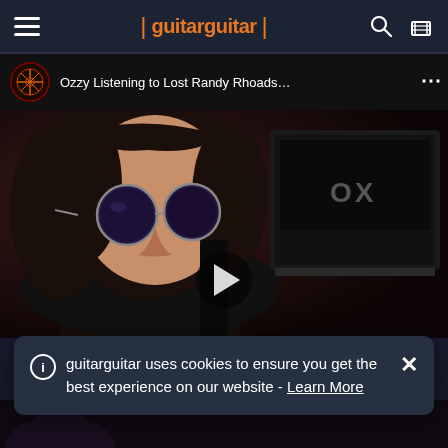guitarguitar
[Figure (screenshot): YouTube video embed showing 'Ozzy Listening to Lost Randy Rhoads...' with channel icon, video title, and a thumbnail image of Ozzy Osbourne wearing round blue-tinted sunglasses in a dark studio setting with guitar amplifier visible, and a play button overlay]
guitarguitar uses cookies to ensure you get the best experience on our website - Learn More